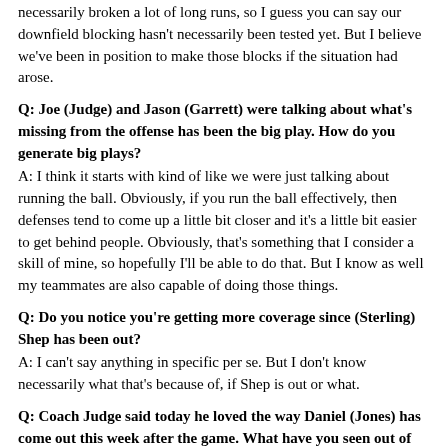necessarily broken a lot of long runs, so I guess you can say our downfield blocking hasn't necessarily been tested yet. But I believe we've been in position to make those blocks if the situation had arose.
Q: Joe (Judge) and Jason (Garrett) were talking about what's missing from the offense has been the big play. How do you generate big plays?
A: I think it starts with kind of like we were just talking about running the ball. Obviously, if you run the ball effectively, then defenses tend to come up a little bit closer and it's a little bit easier to get behind people. Obviously, that's something that I consider a skill of mine, so hopefully I'll be able to do that. But I know as well my teammates are also capable of doing those things.
Q: Do you notice you're getting more coverage since (Sterling) Shep has been out?
A: I can't say anything in specific per se. But I don't know necessarily what that's because of, if Shep is out or what.
Q: Coach Judge said today he loved the way Daniel (Jones) has come out this week after the game. What have you seen out of Daniel just in practice, kind of how he's responding to this tough start here?
A: The same Daniel Jones I've always known since my first day